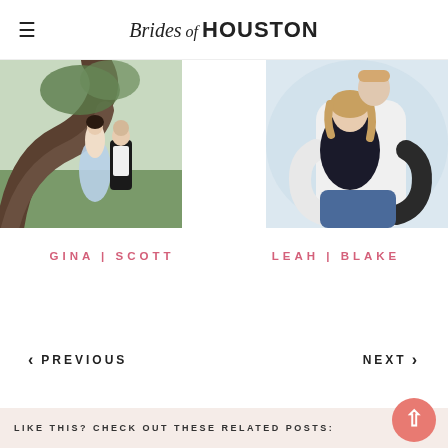Brides of Houston
[Figure (photo): Couple standing outdoors near large tree trunk, woman in light blue dress, man in dark suit]
[Figure (photo): Couple embracing outdoors, woman in dark top, man in white shirt]
GINA | SCOTT
LEAH | BLAKE
< PREVIOUS
NEXT >
LIKE THIS? CHECK OUT THESE RELATED POSTS: